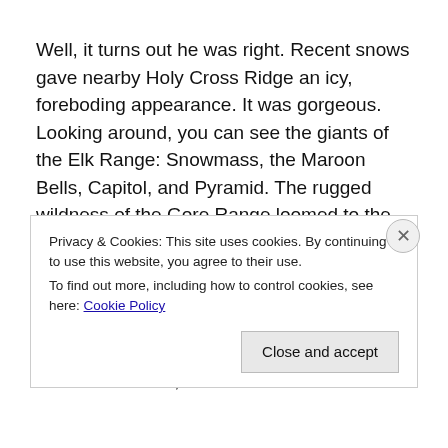Well, it turns out he was right. Recent snows gave nearby Holy Cross Ridge an icy, foreboding appearance. It was gorgeous. Looking around, you can see the giants of the Elk Range: Snowmass, the Maroon Bells, Capitol, and Pyramid. The rugged wildness of the Gore Range loomed to the north. It was an amazing panorama of peaks I'd yet to explore.

We were fortunate with the weather. There had been a forecast that called for a chance of rain and snow, but
Privacy & Cookies: This site uses cookies. By continuing to use this website, you agree to their use.
To find out more, including how to control cookies, see here: Cookie Policy
Close and accept